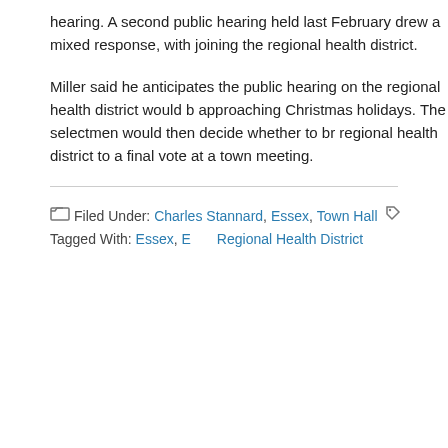hearing. A second public hearing held last February drew a mixed response, with joining the regional health district.
Miller said he anticipates the public hearing on the regional health district would b approaching Christmas holidays. The selectmen would then decide whether to br regional health district to a final vote at a town meeting.
Filed Under: Charles Stannard, Essex, Town Hall   Tagged With: Essex, E Regional Health District